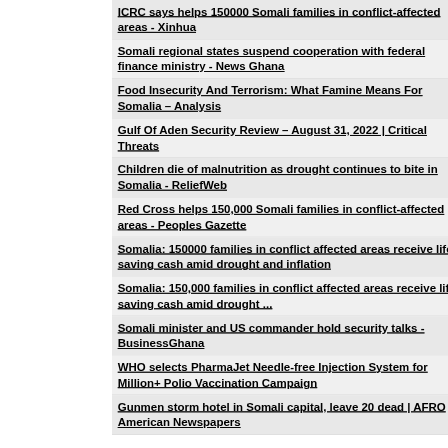ICRC says helps 150000 Somali families in conflict-affected areas - Xinhua
Somali regional states suspend cooperation with federal finance ministry - News Ghana
Food Insecurity And Terrorism: What Famine Means For Somalia – Analysis
Gulf Of Aden Security Review – August 31, 2022 | Critical Threats
Children die of malnutrition as drought continues to bite in Somalia - ReliefWeb
Red Cross helps 150,000 Somali families in conflict-affected areas - Peoples Gazette
Somalia: 150000 families in conflict affected areas receive life-saving cash amid drought and inflation
Somalia: 150,000 families in conflict affected areas receive life-saving cash amid drought ...
Somali minister and US commander hold security talks - BusinessGhana
WHO selects PharmaJet Needle-free Injection System for Million+ Polio Vaccination Campaign
Gunmen storm hotel in Somali capital, leave 20 dead | AFRO American Newspapers